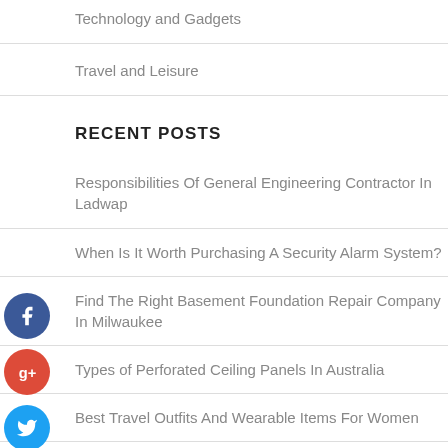Technology and Gadgets
Travel and Leisure
RECENT POSTS
Responsibilities Of General Engineering Contractor In Ladwap
When Is It Worth Purchasing A Security Alarm System?
Find The Right Basement Foundation Repair Company In Milwaukee
Types of Perforated Ceiling Panels In Australia
Best Travel Outfits And Wearable Items For Women